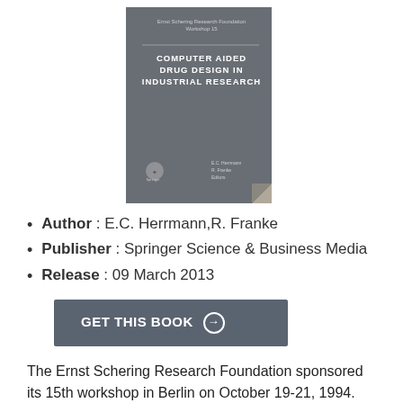[Figure (photo): Book cover of 'Computer Aided Drug Design in Industrial Research', Ernst Schering Research Foundation Workshop 15, edited by E.C. Herrmann and R. Franke, gray cover with white title text]
Author : E.C. Herrmann,R. Franke
Publisher : Springer Science & Business Media
Release : 09 March 2013
GET THIS BOOK →
The Ernst Schering Research Foundation sponsored its 15th workshop in Berlin on October 19-21, 1994. Leading scientists from